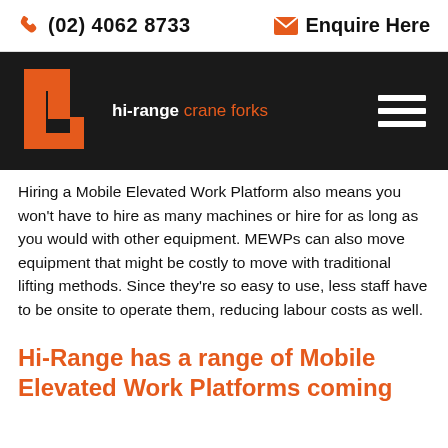(02) 4062 8733  Enquire Here
[Figure (logo): Hi-Range Crane Forks logo with orange H-shaped icon and white/orange text on black background, with hamburger menu icon]
Hiring a Mobile Elevated Work Platform also means you won't have to hire as many machines or hire for as long as you would with other equipment. MEWPs can also move equipment that might be costly to move with traditional lifting methods. Since they're so easy to use, less staff have to be onsite to operate them, reducing labour costs as well.
Hi-Range has a range of Mobile Elevated Work Platforms coming